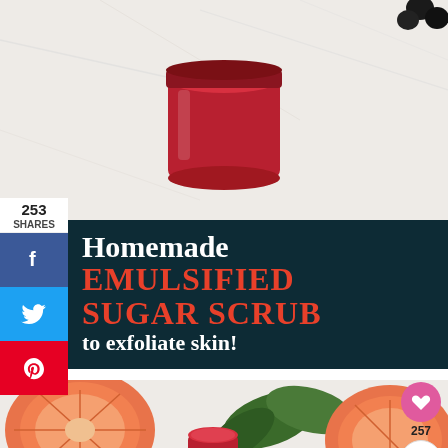[Figure (photo): Top-down view of a jar of red/pink homemade emulsified sugar scrub on a white marble surface with grapefruit slices]
253
SHARES
[Figure (infographic): Dark teal banner with text: Homemade EMULSIFIED SUGAR SCRUB to exfoliate skin!]
Homemade EMULSIFIED SUGAR SCRUB to exfoliate skin!
[Figure (photo): Bottom photo showing sliced grapefruit halves and green leaves on white marble surface with a jar of red sugar scrub]
257